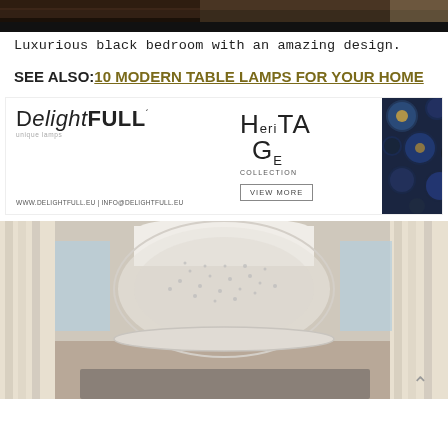[Figure (photo): Top portion of a luxurious black bedroom interior photo]
Luxurious black bedroom with an amazing design.
SEE ALSO: 10 MODERN TABLE LAMPS FOR YOUR HOME
[Figure (advertisement): DelightFULL Heritage Collection advertisement banner with blue sphere chandelier photo on right]
[Figure (photo): Large circular crystal chandelier with white drum shade in a bedroom with white curtains]